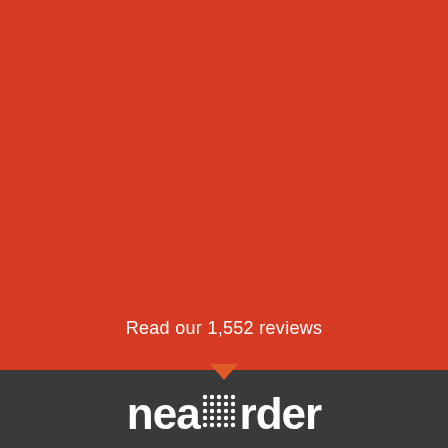[Figure (illustration): Red background section covering the upper ~83% of the page]
Read our 1,552 reviews
[Figure (logo): Nearboarder logo on dark grey background with dotted grid replacing the 'oa' letters, white text on dark grey]